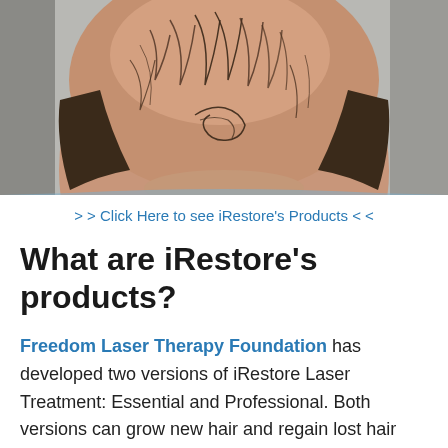[Figure (photo): Close-up top-down view of a man's head showing male pattern baldness with thinning hair on the crown and darker hair around the sides.]
> > Click Here to see iRestore's Products < <
What are iRestore's products?
Freedom Laser Therapy Foundation has developed two versions of iRestore Laser Treatment: Essential and Professional. Both versions can grow new hair and regain lost hair regardless of the